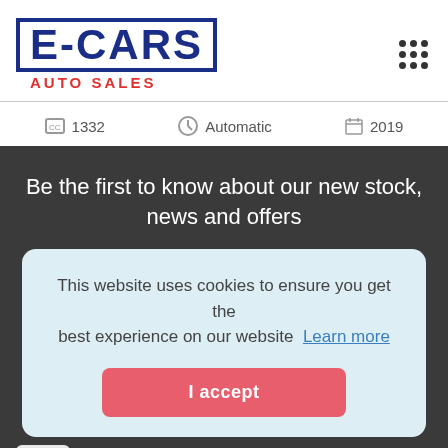[Figure (logo): E-CARS AUTO SALES logo with blue outlined text and red AUTO SALES subtitle]
1332   Automatic   2019
Be the first to know about our new stock, news and offers
This website uses cookies to ensure you get the best experience on our website Learn more
I accept